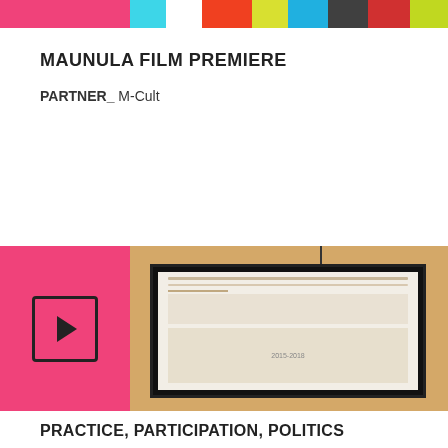[Figure (other): Color bar strip with multiple colored blocks: pink, cyan, white, red-orange, yellow-green, blue, dark grey, dark red, lime]
MAUNULA FILM PREMIERE
PARTNER_ M-Cult
[Figure (photo): Video thumbnail with pink panel on left showing a play button icon, and on the right a photo of a projected screen showing content dated 2015-2018, on a yellow-orange wall]
PRACTICE, PARTICIPATION, POLITICS